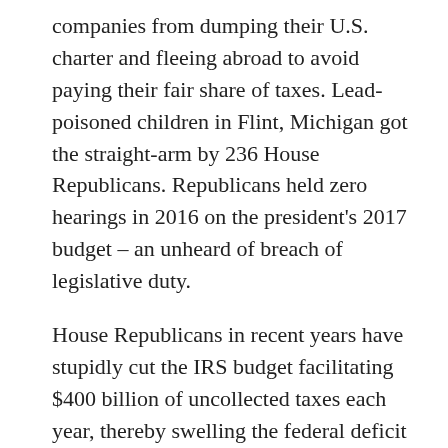companies from dumping their U.S. charter and fleeing abroad to avoid paying their fair share of taxes. Lead-poisoned children in Flint, Michigan got the straight-arm by 236 House Republicans. Republicans held zero hearings in 2016 on the president's 2017 budget – an unheard of breach of legislative duty.
House Republicans in recent years have stupidly cut the IRS budget facilitating $400 billion of uncollected taxes each year, thereby swelling the federal deficit that the GOP is supposed to care about. The Republicans are knowingly complicit in protecting tax evasion.
Worse, these Republicans are complicit in shielding over $330 billion each year in computerized billing fraud. This corporate crime wave estimate comes